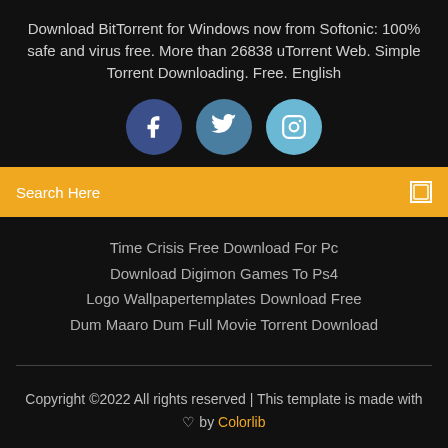Download BitTorrent for Windows now from Softonic: 100% safe and virus free. More than 26838 uTorrent Web. Simple Torrent Downloading. Free. English
[Figure (infographic): Three social media icon circles: Facebook (dark blue), Twitter (steel blue), Instagram (light blue) with white icons]
Search Here
Time Crisis Free Download For Pc
Download Digimon Games To Ps4
Logo Wallpapertemplates Download Free
Dum Maaro Dum Full Movie Torrent Download
Copyright ©2022 All rights reserved | This template is made with ♡ by Colorlib